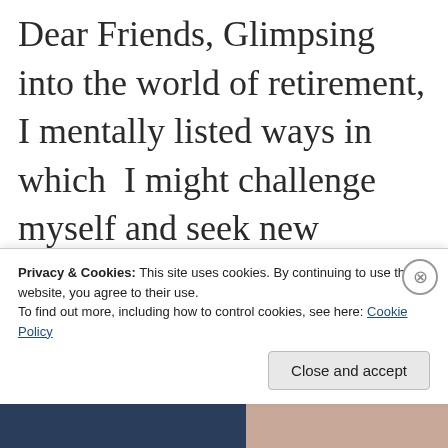Dear Friends, Glimpsing into the world of retirement, I mentally listed ways in which  I might challenge myself and seek new adventures in learning.  I like to be a step ahead and set goals and look at the calendar weeks, months in advance.  These
Privacy & Cookies: This site uses cookies. By continuing to use this website, you agree to their use.
To find out more, including how to control cookies, see here: Cookie Policy
[Figure (photo): Bottom strip showing a dark navy blue image section on the left and a skin-toned/portrait image section on the right]